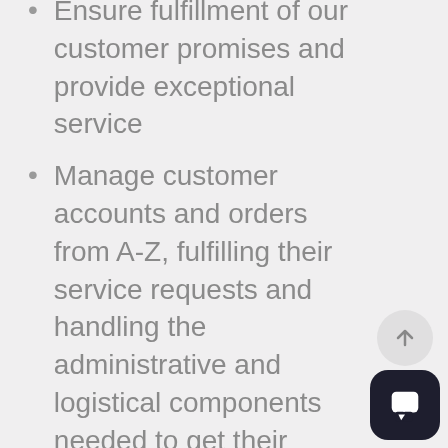Ensure fulfillment of our customer promises and provide exceptional service
Manage customer accounts and orders from A-Z, fulfilling their service requests and handling the administrative and logistical components needed to get their freight shipped safely and on-time
Perform other related duties as assigned